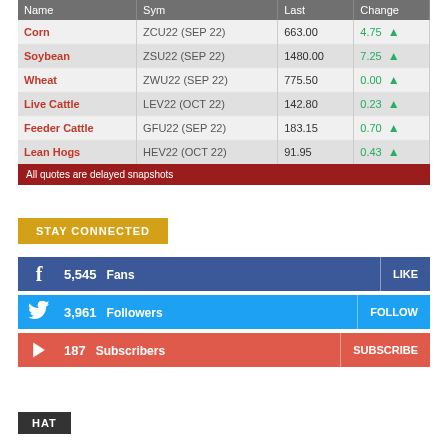| Name | Sym | Last | Change |
| --- | --- | --- | --- |
| Corn | ZCU22 (SEP 22) | 663.00 | 4.75 |
| Soybean | ZSU22 (SEP 22) | 1480.00 | 7.25 |
| Wheat | ZWU22 (SEP 22) | 775.50 | 0.00 |
| Live Cattle | LEV22 (OCT 22) | 142.80 | 0.23 |
| Feeder Cattle | GFU22 (SEP 22) | 183.15 | 0.70 |
| Lean Hogs | HEV22 (OCT 22) | 91.95 | 0.43 |
All quotes are delayed snapshots
STAY CONNECTED
5,545  Fans   LIKE
3,961  Followers   FOLLOW
187  Subscribers   SUBSCRIBE
HAT